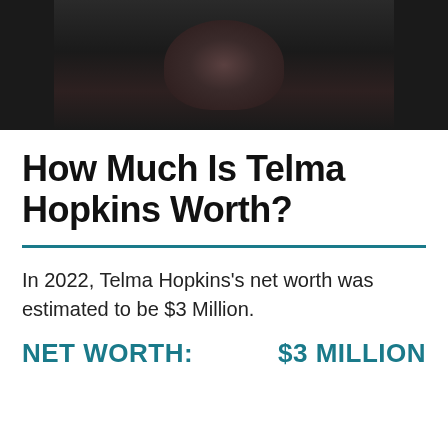[Figure (photo): Partial photo of Telma Hopkins, cropped showing torso/upper body in dark clothing against dark background]
How Much Is Telma Hopkins Worth?
In 2022, Telma Hopkins's net worth was estimated to be $3 Million.
NET WORTH: $3 MILLION